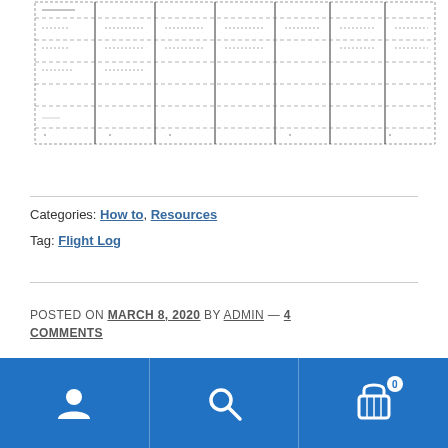[Figure (other): A screenshot of a table or grid with horizontal and vertical lines on white background, partially visible at the top of the page]
Categories: How to, Resources
Tag: Flight Log
POSTED ON MARCH 8, 2020 by admin — 4 Comments
Conservative